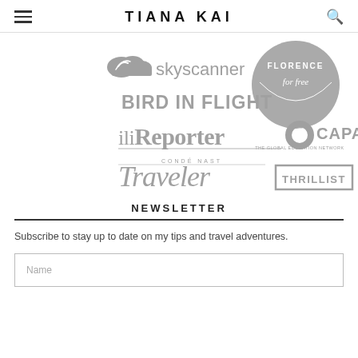TIANA KAI
[Figure (logo): Collage of partner/publication logos: Skyscanner, Florence for Free (circular badge), BIRD IN FLIGHT, iiliReporter, CAPA The Global Education Network, Condé Nast Traveler, THRILLIST]
NEWSLETTER
Subscribe to stay up to date on my tips and travel adventures.